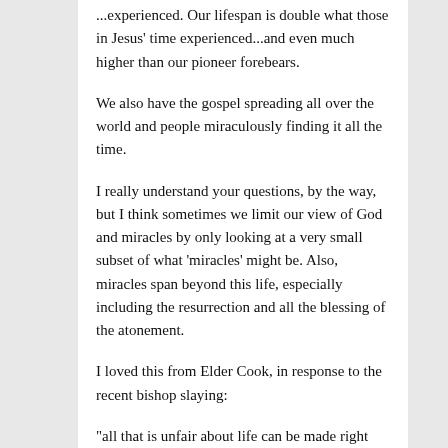...experienced. Our lifespan is double what those in Jesus' time experienced...and even much higher than our pioneer forebears.
We also have the gospel spreading all over the world and people miraculously finding it all the time.
I really understand your questions, by the way, but I think sometimes we limit our view of God and miracles by only looking at a very small subset of what 'miracles' might be. Also, miracles span beyond this life, especially including the resurrection and all the blessing of the atonement.
I loved this from Elder Cook, in response to the recent bishop slaying:
“all that is unfair about life can be made right through the Atonement of Jesus Christ.”
THAT’s a miracle — the most amazing of all!